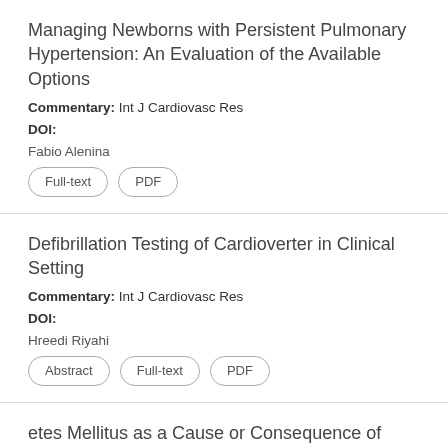Managing Newborns with Persistent Pulmonary Hypertension: An Evaluation of the Available Options
Commentary: Int J Cardiovasc Res
DOI:
Fabio Alenina
Full-text
PDF
Defibrillation Testing of Cardioverter in Clinical Setting
Commentary: Int J Cardiovasc Res
DOI:
Hreedi Riyahi
Abstract
Full-text
PDF
etes Mellitus as a Cause or Consequence of
Pers
DOI:
[Figure (screenshot): WhatsApp 'Leave a message' chat overlay widget at the bottom of the page, partially obscuring the third article entry.]